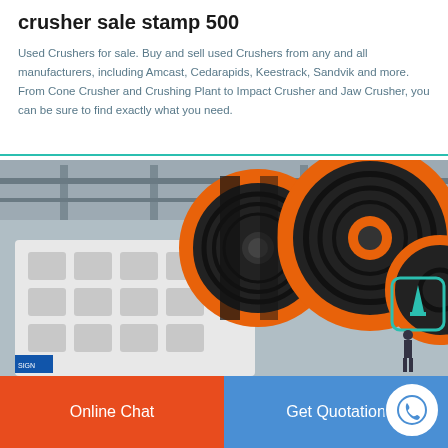crusher sale stamp 500
Used Crushers for sale. Buy and sell used Crushers from any and all manufacturers, including Amcast, Cedarapids, Keestrack, Sandvik and more. From Cone Crusher and Crushing Plant to Impact Crusher and Jaw Crusher, you can be sure to find exactly what you need.
[Figure (photo): Industrial jaw crusher machine with large black and orange flywheels in a factory setting]
Online Chat
Get Quotation